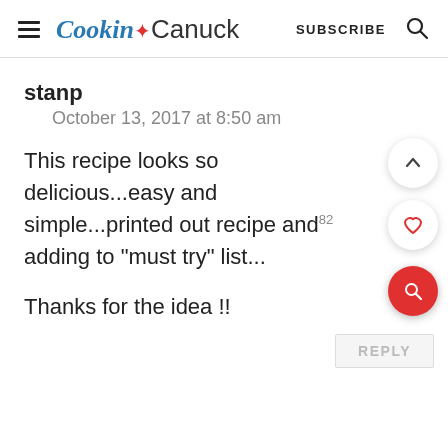Cookin Canuck  SUBSCRIBE
stanp
October 13, 2017 at 8:50 am
This recipe looks so delicious...easy and simple...printed out recipe and adding to "must try" list...

Thanks for the idea !!